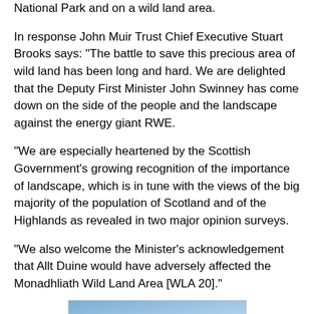National Park and on a wild land area.
In response John Muir Trust Chief Executive Stuart Brooks says: "The battle to save this precious area of wild land has been long and hard. We are delighted that the Deputy First Minister John Swinney has come down on the side of the people and the landscape against the energy giant RWE.
"We are especially heartened by the Scottish Government's growing recognition of the importance of landscape, which is in tune with the views of the big majority of the population of Scotland and of the Highlands as revealed in two major opinion surveys.
"We also welcome the Minister's acknowledgement that Allt Duine would have adversely affected the Monadhliath Wild Land Area [WLA 20]."
[Figure (photo): Photograph of sky with blue tones and wispy white clouds, likely showing a highland or wild land landscape scene.]